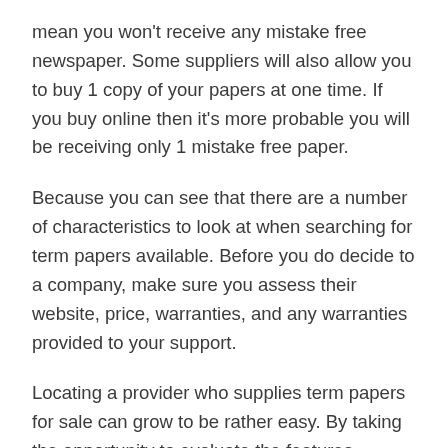mean you won't receive any mistake free newspaper. Some suppliers will also allow you to buy 1 copy of your papers at one time. If you buy online then it's more probable you will be receiving only 1 mistake free paper.
Because you can see that there are a number of characteristics to look at when searching for term papers available. Before you do decide to a company, make sure you assess their website, price, warranties, and any warranties provided to your support.
Locating a provider who supplies term papers for sale can grow to be rather easy. By taking the opportunity to evaluate the features provided and comparing the costs they have, you will have a much easier time finding the very best supplier.
When looking for term papers for sale be sure to know the specific paper you desire. There are a few suppliers who will offer a listing of names to pick from, others may offer a particular topic, for